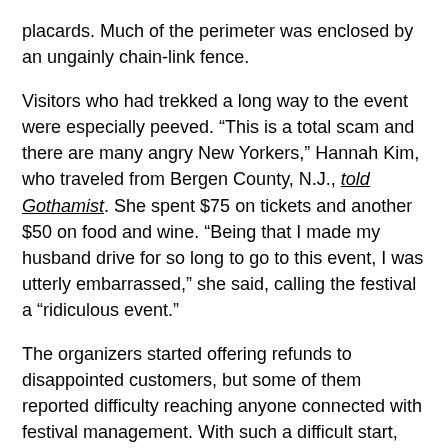placards. Much of the perimeter was enclosed by an ungainly chain-link fence.
Visitors who had trekked a long way to the event were especially peeved. “This is a total scam and there are many angry New Yorkers,” Hannah Kim, who traveled from Bergen County, N.J., told Gothamist. She spent $75 on tickets and another $50 on food and wine. “Being that I made my husband drive for so long to go to this event, I was utterly embarrassed,” she said, calling the festival a “riculous event.”
The organizers started offering refunds to disappointed customers, but some of them reported difficulty reaching anyone connected with festival management. With such a difficult start, the image of Winterfest quickly pivoted from wonderland to scam event, drawing comparisons to the infamous Fyre Festival and Brooklyn’s own notorious $75-a-head pizza festival of last year.
Vendors Left in the Cold
Yet the frustration of customers paled next to that of many vendors,